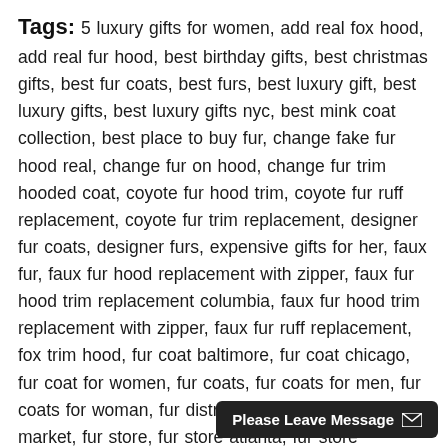Tags: 5 luxury gifts for women, add real fox hood, add real fur hood, best birthday gifts, best christmas gifts, best fur coats, best furs, best luxury gift, best luxury gifts, best luxury gifts nyc, best mink coat collection, best place to buy fur, change fake fur hood real, change fur on hood, change fur trim hooded coat, coyote fur hood trim, coyote fur ruff replacement, coyote fur trim replacement, designer fur coats, designer furs, expensive gifts for her, faux fur, faux fur hood replacement with zipper, faux fur hood trim replacement columbia, faux fur hood trim replacement with zipper, faux fur ruff replacement, fox trim hood, fur coat baltimore, fur coat chicago, fur coat for women, fur coats, fur coats for men, fur coats for woman, fur district nyc, fur jackets, fur market, fur store, fur store atlanta, fur store baltimore, fur store chicago, fur store detroit, fur store newark, fur store nyc, fur store philadelphia, fur store washington dc, fur stores, fur trim hood, fur trim hoodie, furrier, furs, furs for woman, hermes bag, hermes leather bag, how much change fake fur to real fur hood, how to remove fake fur from hood, luxury furs, luxury gift for wome...